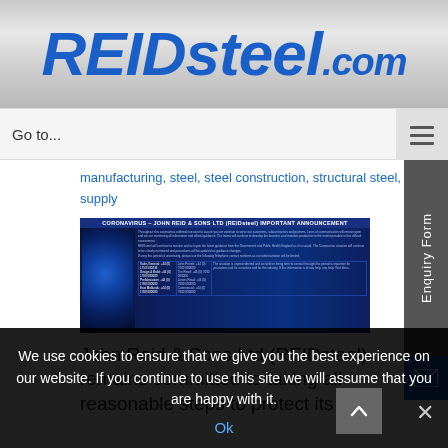[Figure (logo): REIDsteel.com logo in bold blue italic text on a metallic grey brushed background]
Go to...
manufacturing, steel, steel construction, structural steel, supply
[Figure (screenshot): Coronavirus - John Reid & Sons Ltd (REIDsteel) important announcement banner with blue background and virus imagery]
John Reid & Sons Ltd (REIDsteel) remains committed to taking all reasonable steps to protect its
We use cookies to ensure that we give you the best experience on our website. If you continue to use this site we will assume that you are happy with it.
Ok